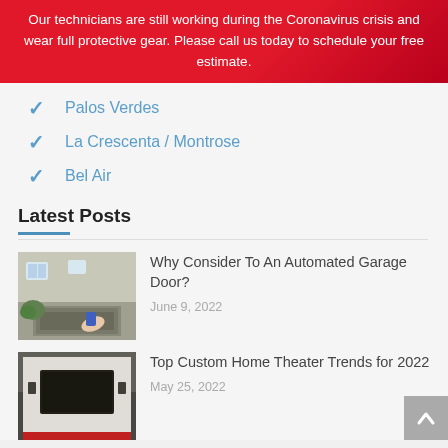Our technicians are still working during the Coronavirus crisis and wear full protective gear. Please call us today to schedule your free estimate.
Palos Verdes
La Crescenta / Montrose
Bel Air
Latest Posts
[Figure (photo): Photo of a house garage door with a hand holding a remote control opener]
Why Consider To An Automated Garage Door?

June 9, 2022
[Figure (photo): Photo of a custom home theater with a large TV mounted on a white brick wall]
Top Custom Home Theater Trends for 2022

May 25, 2022